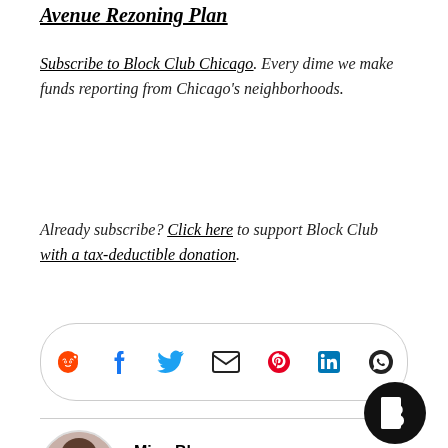Avenue Rezoning Plan
Subscribe to Block Club Chicago. Every dime we make funds reporting from Chicago's neighborhoods.
Already subscribe? Click here to support Block Club with a tax-deductible donation.
[Figure (other): Social sharing icon bar with Reddit, Facebook, Twitter, Email, Pinterest, LinkedIn, and WhatsApp icons]
Mina Bloom
Logan Square, Humboldt Park & Avondale reporter
mina@blockclubchi.org